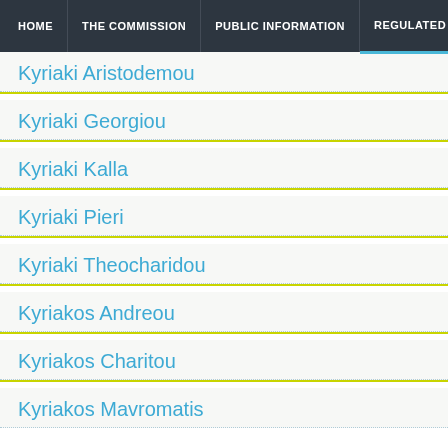HOME | THE COMMISSION | PUBLIC INFORMATION | REGULATED EN...
Kyriaki Aristodemou
Kyriaki Georgiou
Kyriaki Kalla
Kyriaki Pieri
Kyriaki Theocharidou
Kyriakos Andreou
Kyriakos Charitou
Kyriakos Mavromatis